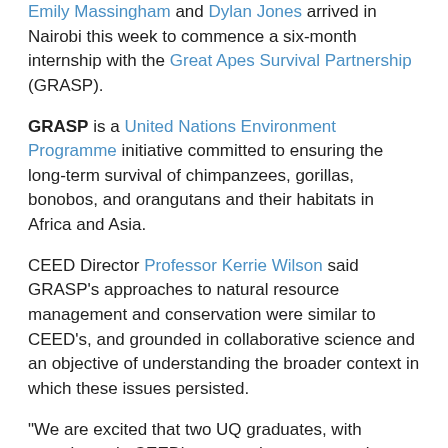Emily Massingham and Dylan Jones arrived in Nairobi this week to commence a six-month internship with the Great Apes Survival Partnership (GRASP).
GRASP is a United Nations Environment Programme initiative committed to ensuring the long-term survival of chimpanzees, gorillas, bonobos, and orangutans and their habitats in Africa and Asia.
CEED Director Professor Kerrie Wilson said GRASP's approaches to natural resource management and conservation were similar to CEED's, and grounded in collaborative science and an objective of understanding the broader context in which these issues persisted.
"We are excited that two UQ graduates, with experience in CEED's approach to conservation, are going on to work with the only species program within the UN family," she said.
"While they will be focusing on great ape conservation, they will be part of the larger wildlife unit and will be involved in